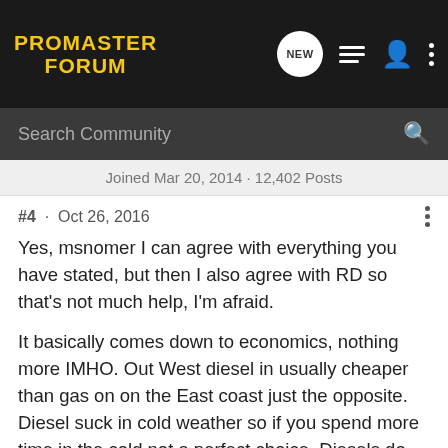PROMASTER FORUM
Joined Mar 20, 2014 · 12,402 Posts
#4 · Oct 26, 2016
Yes, msnomer I can agree with everything you have stated, but then I also agree with RD so that's not much help, I'm afraid.
It basically comes down to economics, nothing more IMHO. Out West diesel in usually cheaper than gas on on the East coast just the opposite. Diesel suck in cold weather so if you spend more time in the cold not a perfect choice. Diesels do last twice as long as gas engines but good, low mileage gas engines for the Promaster are cheap, cheap, cheap.
I've prob... my lifetime ... the
[Figure (screenshot): Advertisement for The New 2022 Silverado by Chevrolet with Explore button]